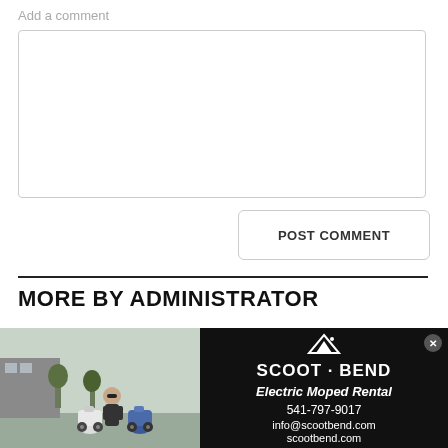Add a comment
[Figure (other): Empty comment text area input box with light gray border]
POST COMMENT
MORE BY ADMINISTRATOR
[Figure (photo): Advertisement banner: left side shows a photo of a person with two electric mopeds outdoors. Right side is a black background with Scoot Bend logo, text: Electric Moped Rental, 541-797-9017, info@scootbend.com, scootbend.com]